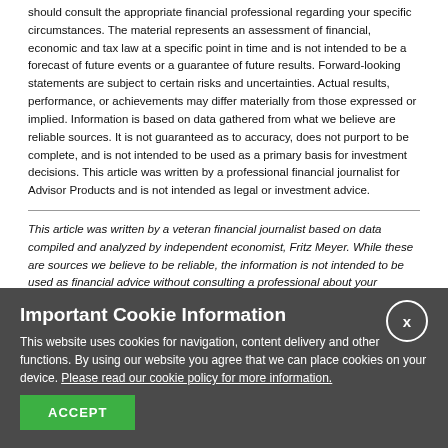should consult the appropriate financial professional regarding your specific circumstances. The material represents an assessment of financial, economic and tax law at a specific point in time and is not intended to be a forecast of future events or a guarantee of future results. Forward-looking statements are subject to certain risks and uncertainties. Actual results, performance, or achievements may differ materially from those expressed or implied. Information is based on data gathered from what we believe are reliable sources. It is not guaranteed as to accuracy, does not purport to be complete, and is not intended to be used as a primary basis for investment decisions. This article was written by a professional financial journalist for Advisor Products and is not intended as legal or investment advice.
This article was written by a veteran financial journalist based on data compiled and analyzed by independent economist, Fritz Meyer. While these are sources we believe to be reliable, the information is not intended to be used as financial advice without consulting a professional about your personal situation.
Indices are unmanaged and not available for direct investment. Investments
Important Cookie Information
This website uses cookies for navigation, content delivery and other functions. By using our website you agree that we can place cookies on your device. Please read our cookie policy for more information.